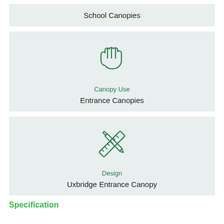School Canopies
[Figure (illustration): Hand icon (stop/wave gesture) in dark green outline style]
Canopy Use
Entrance Canopies
[Figure (illustration): Crossed pencil and ruler icon in dark green outline style]
Design
Uxbridge Entrance Canopy
Specification